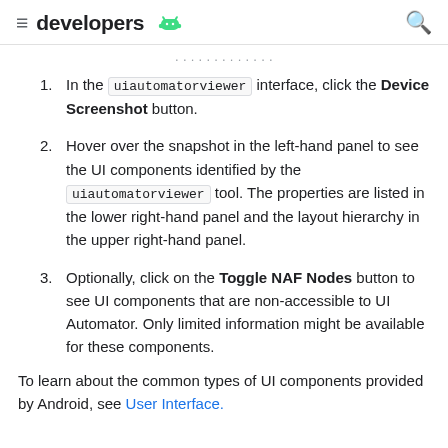developers [android logo]
...
In the uiautomatorviewer interface, click the Device Screenshot button.
Hover over the snapshot in the left-hand panel to see the UI components identified by the uiautomatorviewer tool. The properties are listed in the lower right-hand panel and the layout hierarchy in the upper right-hand panel.
Optionally, click on the Toggle NAF Nodes button to see UI components that are non-accessible to UI Automator. Only limited information might be available for these components.
To learn about the common types of UI components provided by Android, see User Interface.